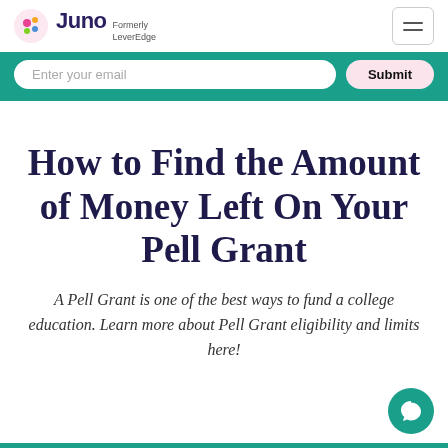Juno — Formerly LeverEdge
Enter your email — Submit
How to Find the Amount of Money Left On Your Pell Grant
A Pell Grant is one of the best ways to fund a college education. Learn more about Pell Grant eligibility and limits here!